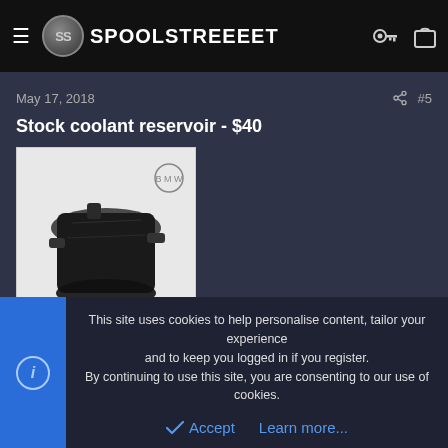SPOOLSTREET
May 17, 2018   #5
Stock coolant reservoir - $40
[Figure (photo): Photo of a black stock coolant reservoir against a white background]
bennythebimmer
This site uses cookies to help personalise content, tailor your experience and to keep you logged in if you register. By continuing to use this site, you are consenting to our use of cookies.